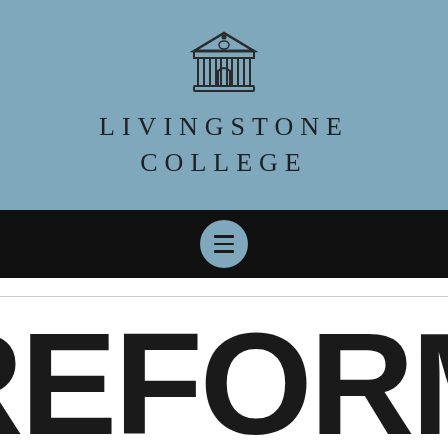[Figure (logo): Livingstone College logo: a classical building with columns icon in dark outline style, centered on blue background]
LIVINGSTONE
COLLEGE
[Figure (other): Dark navigation bar with a circular blue menu (hamburger) button centered]
REFORM